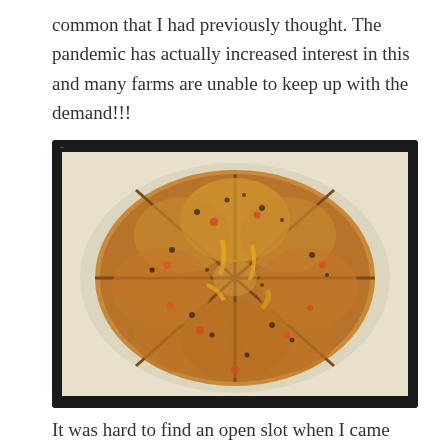common that I had previously thought. The pandemic has actually increased interest in this and many farms are unable to keep up with the demand!!!
[Figure (photo): A round loaf of savory scone bread baked on a parchment-lined dark baking sheet, scored into 8 wedge sections, golden brown and speckled with herbs and cheese pieces.]
It was hard to find an open slot when I came back to